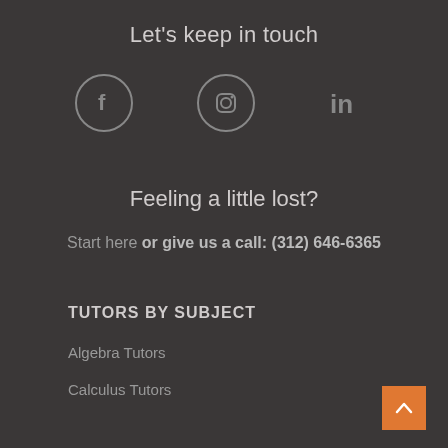Let's keep in touch
[Figure (illustration): Three social media icons: Facebook (circle with f), Instagram (rounded square camera), LinkedIn (in logo)]
Feeling a little lost?
Start here or give us a call: (312) 646-6365
TUTORS BY SUBJECT
Algebra Tutors
Calculus Tutors